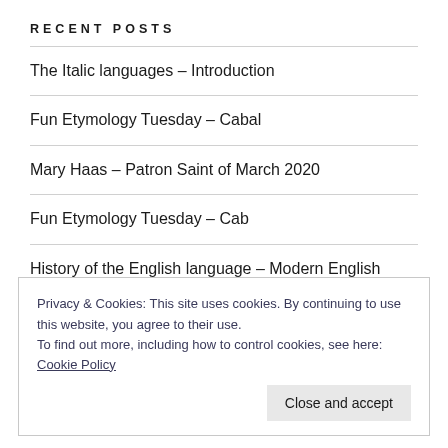RECENT POSTS
The Italic languages – Introduction
Fun Etymology Tuesday – Cabal
Mary Haas – Patron Saint of March 2020
Fun Etymology Tuesday – Cab
History of the English language – Modern English syntax
Privacy & Cookies: This site uses cookies. By continuing to use this website, you agree to their use.
To find out more, including how to control cookies, see here: Cookie Policy
Close and accept